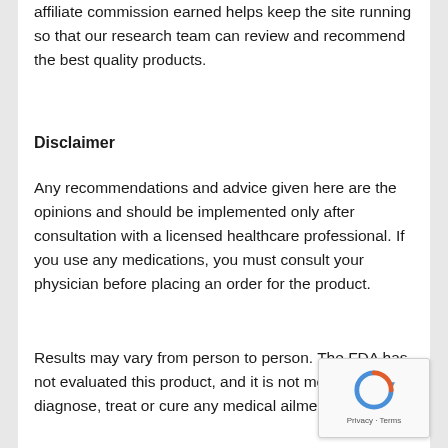affiliate commission earned helps keep the site running so that our research team can review and recommend the best quality products.
Disclaimer
Any recommendations and advice given here are the opinions and should be implemented only after consultation with a licensed healthcare professional. If you use any medications, you must consult your physician before placing an order for the product.
Results may vary from person to person. The FDA has not evaluated this product, and it is not meant to diagnose, treat or cure any medical ailment.
[Figure (logo): reCAPTCHA badge with circular arrow logo and Privacy - Terms text]